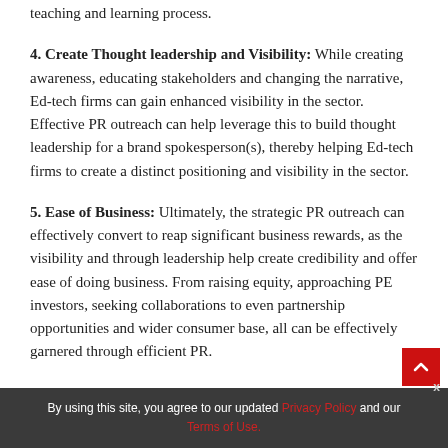teaching and learning process.
4. Create Thought leadership and Visibility: While creating awareness, educating stakeholders and changing the narrative, Ed-tech firms can gain enhanced visibility in the sector. Effective PR outreach can help leverage this to build thought leadership for a brand spokesperson(s), thereby helping Ed-tech firms to create a distinct positioning and visibility in the sector.
5. Ease of Business: Ultimately, the strategic PR outreach can effectively convert to reap significant business rewards, as the visibility and through leadership help create credibility and offer ease of doing business. From raising equity, approaching PE investors, seeking collaborations to even partnership opportunities and wider consumer base, all can be effectively garnered through efficient PR.
By using this site, you agree to our updated Privacy Policy and our Terms of Use.